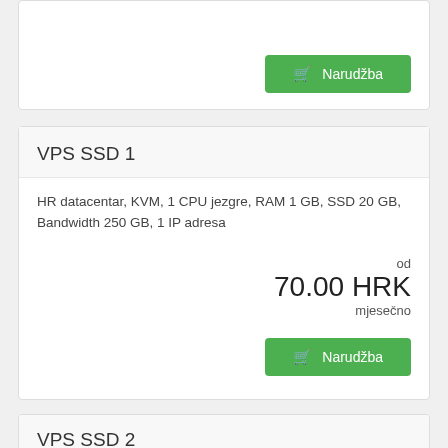[Figure (screenshot): Top card partial — shows only a Narudžba button at the top right, card is cut off at top]
VPS SSD 1
HR datacentar, KVM, 1 CPU jezgre, RAM 1 GB, SSD 20 GB, Bandwidth 250 GB, 1 IP adresa
od
70.00 HRK
mjesečno
Narudžba
VPS SSD 2
HR datacentar, KVM, 1 CPU jezgre, RAM 2 GB, SSD 40 GB, Bandwidth 500 GB, 1 IP adresa